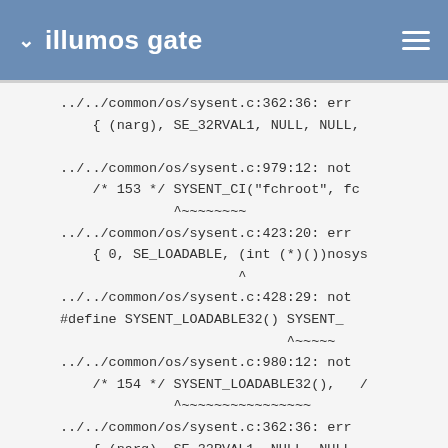illumos gate
../../common/os/sysent.c:362:36: err
{ (narg), SE_32RVAL1, NULL, NULL,

../../common/os/sysent.c:979:12: not
/* 153 */ SYSENT_CI("fchroot", fc
          ^~~~~~~~~
../../common/os/sysent.c:423:20: err
{ 0, SE_LOADABLE, (int (*)())nosys
                  ^
../../common/os/sysent.c:428:29: not
#define SYSENT_LOADABLE32() SYSENT_
                            ^~~~~~
../../common/os/sysent.c:980:12: not
/* 154 */ SYSENT_LOADABLE32(),   /
          ^~~~~~~~~~~~~~~~~
../../common/os/sysent.c:362:36: err
{ (narg), SE_32RVAL1, NULL, NULL,